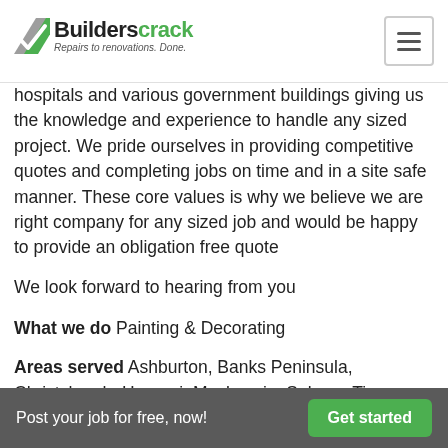Builderscrack – Repairs to renovations. Done.
hospitals and various government buildings giving us the knowledge and experience to handle any sized project. We pride ourselves in providing competitive quotes and completing jobs on time and in a site safe manner. These core values is why we believe we are right company for any sized job and would be happy to provide an obligation free quote
We look forward to hearing from you
What we do Painting & Decorating
Areas served Ashburton, Banks Peninsula, Christchurch, Hurunui, Mackenzie, Selwyn, Timaru, Waimakariri, Waimate
Business Type Company
Post your job for free, now! Get started